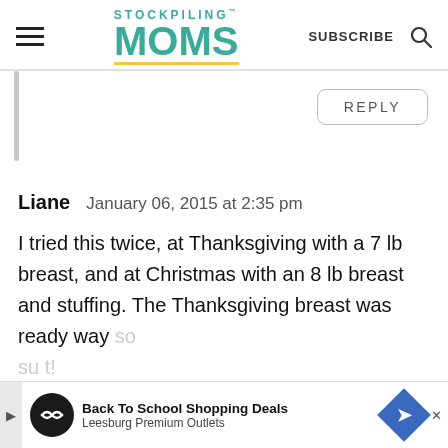STOCKPILING MOMS — SUBSCRIBE
REPLY
Liane   January 06, 2015 at 2:35 pm
I tried this twice, at Thanksgiving with a 7 lb breast, and at Christmas with an 8 lb breast and stuffing. The Thanksgiving breast was ready way so... su...t!
[Figure (screenshot): Ad banner: Back To School Shopping Deals — Leesburg Premium Outlets]